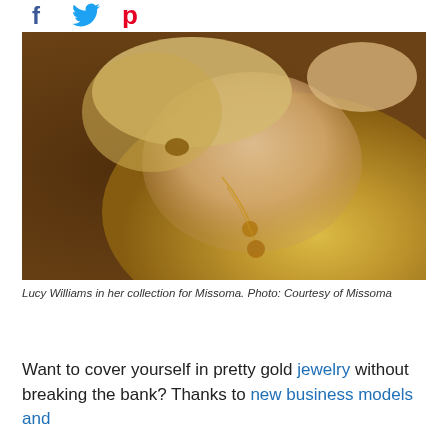[Figure (other): Social media share icons: Facebook (f), Twitter (bird), Pinterest (p)]
[Figure (photo): Lucy Williams lying down wearing a gold satin shirt and gold coin necklaces, with gold hoop earrings, on a patterned fabric background. Photo shoot for Missoma jewelry collection.]
Lucy Williams in her collection for Missoma. Photo: Courtesy of Missoma
Want to cover yourself in pretty gold jewelry without breaking the bank? Thanks to new business models and